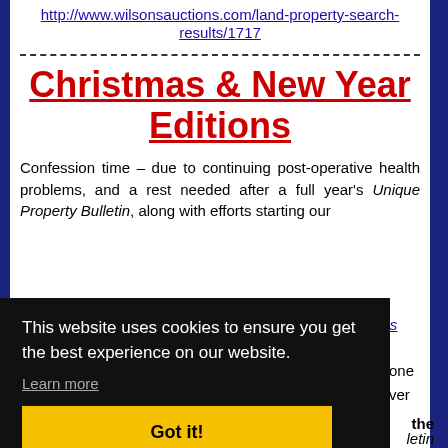http://www.wilsonsauctions.com/land-property-search-results/1717
Christmas & New Year Editions
Confession time – due to continuing post-operative health problems, and a rest needed after a full year's Unique Property Bulletin, along with efforts starting our
ses
one over
the
Bulletin
As Normal.
[Figure (screenshot): Cookie consent banner with black background, text 'This website uses cookies to ensure you get the best experience on our website.', Learn more link, and yellow Got it! button]